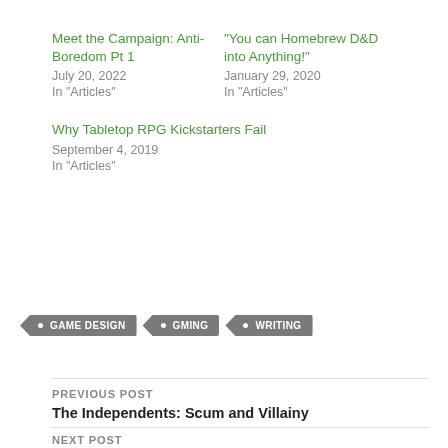Meet the Campaign: Anti-Boredom Pt 1
July 20, 2022
In "Articles"
“You can Homebrew D&D into Anything!”
January 29, 2020
In "Articles"
Why Tabletop RPG Kickstarters Fail
September 4, 2019
In "Articles"
GAME DESIGN  GMING  WRITING
PREVIOUS POST
The Independents: Scum and Villainy
NEXT POST